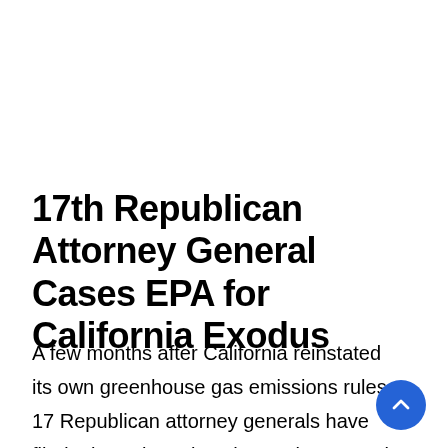17th Republican Attorney General Cases EPA for California Exodus
A few months after California reinstated its own greenhouse gas emissions rules, 17 Republican attorney generals have filed a lawsuit against the Environmental Protection Agency [...]